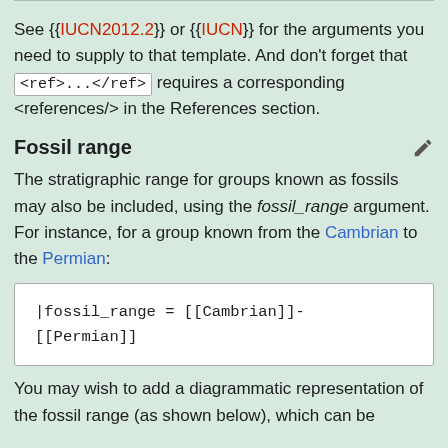See {{IUCN2012.2}} or {{IUCN}} for the arguments you need to supply to that template. And don't forget that <ref>...</ref> requires a corresponding <references/> in the References section.
Fossil range
The stratigraphic range for groups known as fossils may also be included, using the fossil_range argument. For instance, for a group known from the Cambrian to the Permian:
|fossil_range = [[Cambrian]]-[[Permian]]
You may wish to add a diagrammatic representation of the fossil range (as shown below), which can be